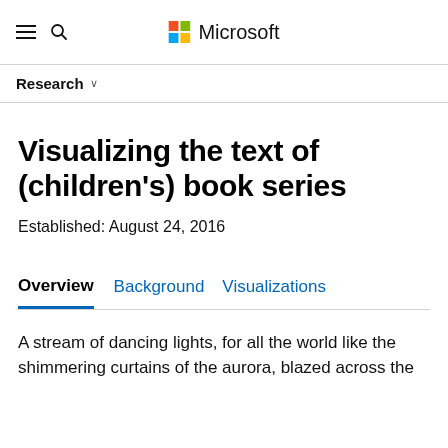Microsoft
Research
Visualizing the text of (children's) book series
Established: August 24, 2016
Overview   Background   Visualizations
A stream of dancing lights, for all the world like the shimmering curtains of the aurora, blazed across the